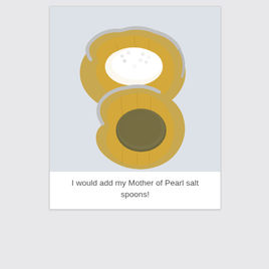[Figure (photo): Two gold-painted oyster shells on a light grey/white background. The top shell contains white salt crystals. The bottom shell has a dark brown/olive colored round stone or felt pad inside.]
I would add my Mother of Pearl salt spoons!